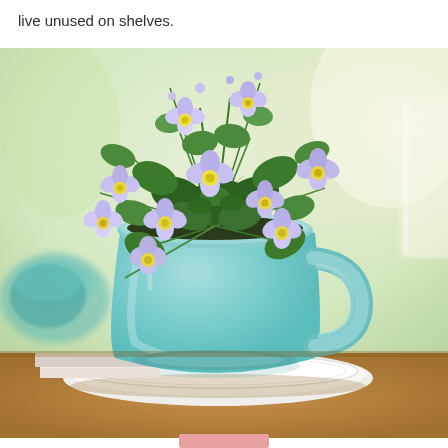live unused on shelves.
[Figure (photo): A light blue/teal ceramic teacup used as a planter, filled with small purple/lavender flowers with yellow centers and green foliage, sitting on a white saucer on a wooden surface, with soft bokeh background.]